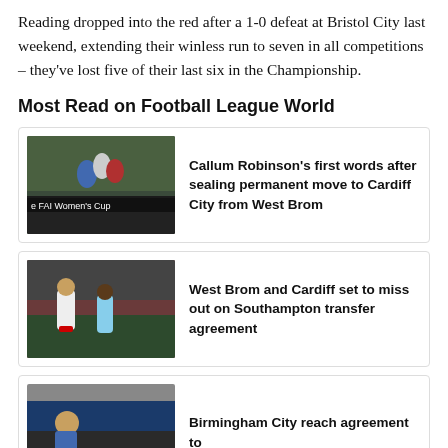Reading dropped into the red after a 1-0 defeat at Bristol City last weekend, extending their winless run to seven in all competitions – they've lost five of their last six in the Championship.
Most Read on Football League World
[Figure (photo): Football match action photo with FAI Women's Cup banner]
Callum Robinson's first words after sealing permanent move to Cardiff City from West Brom
[Figure (photo): Two football players in action on a pitch]
West Brom and Cardiff set to miss out on Southampton transfer agreement
[Figure (photo): Football crowd/players photo]
Birmingham City reach agreement to